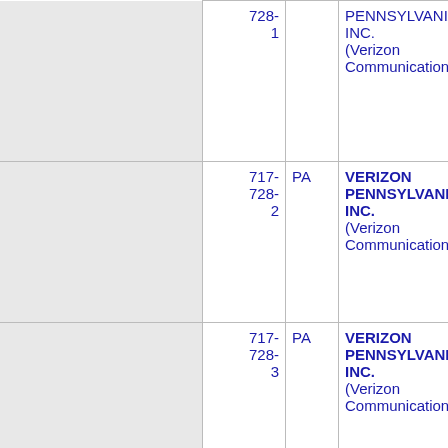|  | NPA-NXX | State | Company Name |  |
| --- | --- | --- | --- | --- |
|  | 728-
1 |  | PENNSYLVANIA, INC.
(Verizon Communications) |  |
|  | 717-
728-
2 | PA | VERIZON
PENNSYLVANIA, INC.
(Verizon Communications) | 9 |
|  | 717-
728-
3 | PA | VERIZON
PENNSYLVANIA, INC.
(Verizon Communications) | 9 |